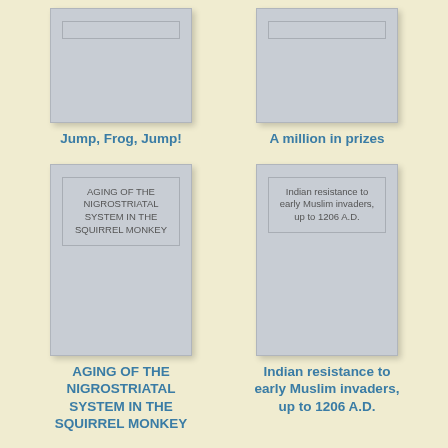[Figure (illustration): Book cover placeholder for 'Jump, Frog, Jump!' - gray rectangle with inner border]
Jump, Frog, Jump!
[Figure (illustration): Book cover placeholder for 'A million in prizes' - gray rectangle with inner border]
A million in prizes
[Figure (illustration): Book cover placeholder for 'AGING OF THE NIGROSTRIATAL SYSTEM IN THE SQUIRREL MONKEY' - gray rectangle with inner border and title text inside]
AGING OF THE NIGROSTRIATAL SYSTEM IN THE SQUIRREL MONKEY
[Figure (illustration): Book cover placeholder for 'Indian resistance to early Muslim invaders, up to 1206 A.D.' - gray rectangle with inner border and title text inside]
Indian resistance to early Muslim invaders, up to 1206 A.D.